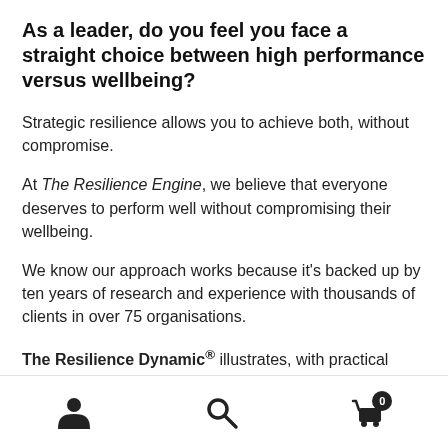As a leader, do you feel you face a straight choice between high performance versus wellbeing?
Strategic resilience allows you to achieve both, without compromise.
At The Resilience Engine, we believe that everyone deserves to perform well without compromising their wellbeing.
We know our approach works because it's backed up by ten years of research and experience with thousands of clients in over 75 organisations.
The Resilience Dynamic® illustrates, with practical tools, how to develop resilience as a buffer to stress and how it
[Figure (infographic): Bottom navigation bar with three icons: person/account icon, search icon, and shopping cart icon with badge showing 0]